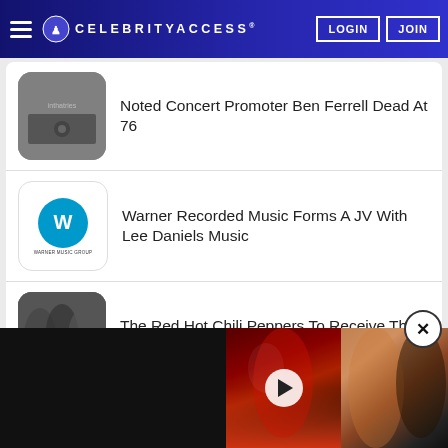CELEBRITYACCESS
Noted Concert Promoter Ben Ferrell Dead At 76
Warner Recorded Music Forms A JV With Lee Daniels Music
The Red Hot Chili Peppers To Receive The Global Icon Award At The VMAs
ASCAP To Host Virtual Showcase For Up And Coming Hip-Hop And R&B Artists
[Figure (screenshot): Video player panel with two artist thumbnails and a play button overlay, close button (X)]